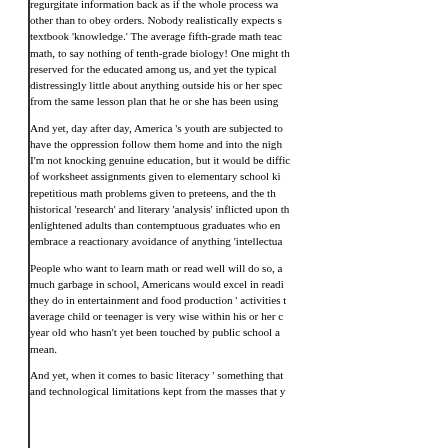regurgitate information back as if the whole process was other than to obey orders. Nobody realistically expects s textbook 'knowledge.' The average fifth-grade math teac math, to say nothing of tenth-grade biology! One might th reserved for the educated among us, and yet the typical distressingly little about anything outside his or her spec from the same lesson plan that he or she has been using
And yet, day after day, America 's youth are subjected to have the oppression follow them home and into the nigh I'm not knocking genuine education, but it would be diffic of worksheet assignments given to elementary school ki repetitious math problems given to preteens, and the th historical 'research' and literary 'analysis' inflicted upon th enlightened adults than contemptuous graduates who en embrace a reactionary avoidance of anything 'intellectua
People who want to learn math or read well will do so, a much garbage in school, Americans would excel in readi they do in entertainment and food production ' activities t average child or teenager is very wise within his or her c year old who hasn't yet been touched by public school a mean.
And yet, when it comes to basic literacy ' something that and technological limitations kept from the masses that y